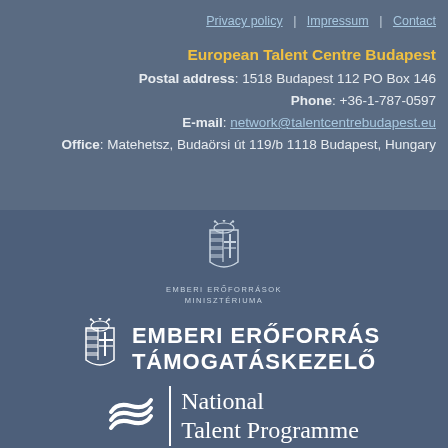Privacy policy | Impressum | Contact
European Talent Centre Budapest
Postal address: 1518 Budapest 112 PO Box 146
Phone: +36-1-787-0597
E-mail: network@talentcentrebudapest.eu
Office: Matehetsz, Budaörsi út 119/b 1118 Budapest, Hungary
[Figure (logo): Hungarian coat of arms emblem with text EMBERI ERŐFORRÁSOK MINISZTÉRIUMA]
[Figure (logo): Hungarian coat of arms emblem next to EMBERI ERŐFORRÁS TÁMOGATÁSKEZELŐ text]
[Figure (logo): National Talent Programme logo with wave symbol]